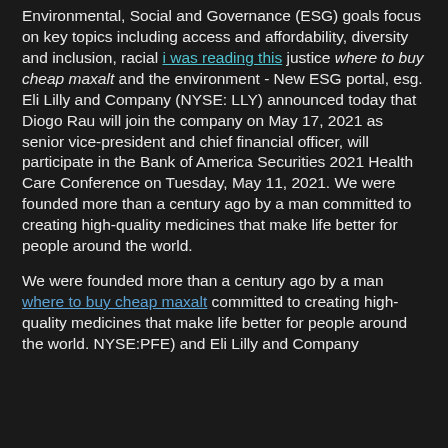Environmental, Social and Governance (ESG) goals focus on key topics including access and affordability, diversity and inclusion, racial i was reading this justice where to buy cheap maxalt and the environment - New ESG portal, esg. Eli Lilly and Company (NYSE: LLY) announced today that Diogo Rau will join the company on May 17, 2021 as senior vice-president and chief financial officer, will participate in the Bank of America Securities 2021 Health Care Conference on Tuesday, May 11, 2021. We were founded more than a century ago by a man committed to creating high-quality medicines that make life better for people around the world.
We were founded more than a century ago by a man where to buy cheap maxalt committed to creating high-quality medicines that make life better for people around the world. NYSE:PFE) and Eli Lilly and Company